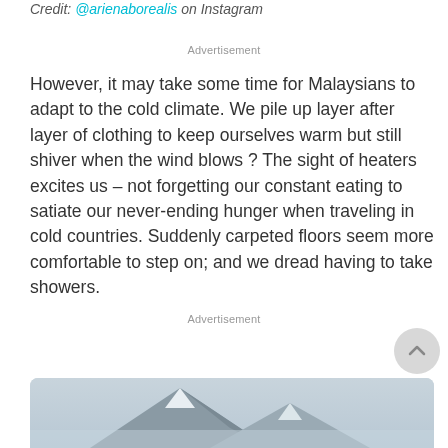Credit: @arienaborealis on Instagram
Advertisement
However, it may take some time for Malaysians to adapt to the cold climate. We pile up layer after layer of clothing to keep ourselves warm but still shiver when the wind blows ? The sight of heaters excites us – not forgetting our constant eating to satiate our never-ending hunger when traveling in cold countries. Suddenly carpeted floors seem more comfortable to step on; and we dread having to take showers.
Advertisement
[Figure (photo): Snow-covered mountain peaks with a light grey sky in the background]